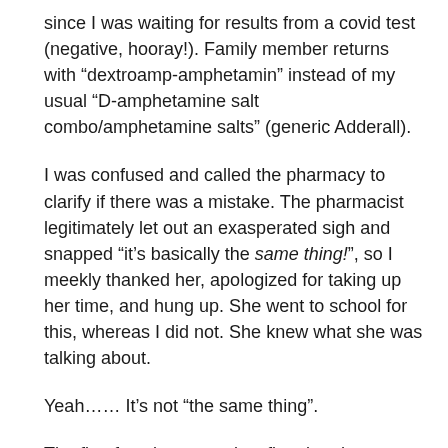since I was waiting for results from a covid test (negative, hooray!). Family member returns with “dextroamp-amphetamin” instead of my usual “D-amphetamine salt combo/amphetamine salts” (generic Adderall).
I was confused and called the pharmacy to clarify if there was a mistake. The pharmacist legitimately let out an exasperated sigh and snapped “it’s basically the same thing!”, so I meekly thanked her, apologized for taking up her time, and hung up. She went to school for this, whereas I did not. She knew what she was talking about.
Yeah…… It’s not “the same thing”.
The first few days were just fine, but the rest has been an absolute struggle.